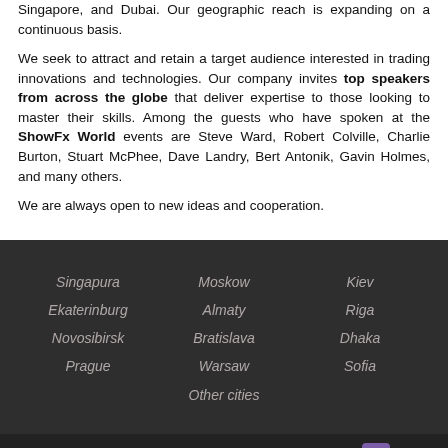Singapore, and Dubai. Our geographic reach is expanding on a continuous basis.
We seek to attract and retain a target audience interested in trading innovations and technologies. Our company invites top speakers from across the globe that deliver expertise to those looking to master their skills. Among the guests who have spoken at the ShowFx World events are Steve Ward, Robert Colville, Charlie Burton, Stuart McPhee, Dave Landry, Bert Antonik, Gavin Holmes, and many others.
We are always open to new ideas and cooperation.
Singapura | Moskow | Kiev | Ekaterinburg | Almaty | Riga | Novosibirsk | Bratislava | Dhaka | Prague | Warsaw | Sofia | Other cities
ShowFx World © 2009-2022. All rights reserved. Privacy Policy